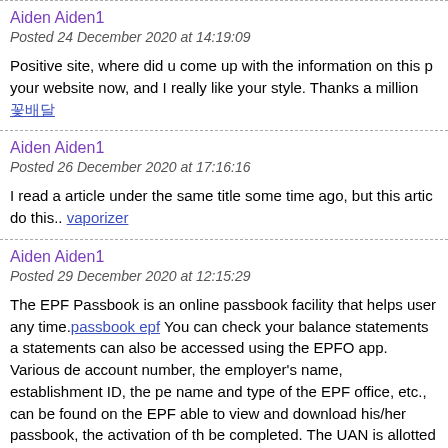Aiden Aiden1
Posted 24 December 2020 at 14:19:09
Positive site, where did u come up with the information on this p your website now, and I really like your style. Thanks a million 꽃배달
Aiden Aiden1
Posted 26 December 2020 at 17:16:16
I read a article under the same title some time ago, but this artic do this.. vaporizer
Aiden Aiden1
Posted 29 December 2020 at 12:15:29
The EPF Passbook is an online passbook facility that helps user any time. passbook epf You can check your balance statements a statements can also be accessed using the EPFO app. Various de account number, the employer's name, establishment ID, the pe name and type of the EPF office, etc., can be found on the EPF able to view and download his/her passbook, the activation of th be completed. The UAN is allotted by the EPFO and the employ